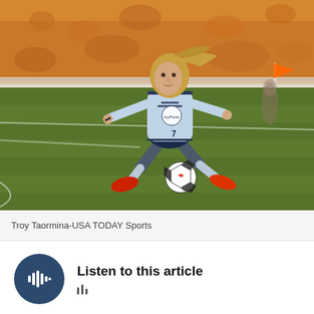[Figure (photo): Soccer player in light blue Sporting KC jersey and dark navy shorts, mid-kick stance on green field during a match. Stadium with orange crowd in background. Player number 7, wearing red cleats.]
Troy Taormina-USA TODAY Sports
Listen to this article